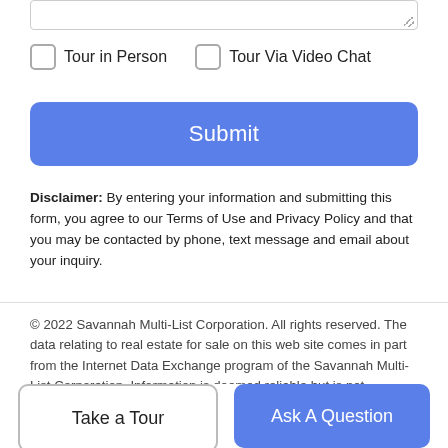Tour in Person
Tour Via Video Chat
Submit
Disclaimer: By entering your information and submitting this form, you agree to our Terms of Use and Privacy Policy and that you may be contacted by phone, text message and email about your inquiry.
© 2022 Savannah Multi-List Corporation. All rights reserved. The data relating to real estate for sale on this web site comes in part from the Internet Data Exchange program of the Savannah Multi-List Corporation. Information is deemed reliable but is not guaranteed accurate by the MLS or McIntosh Realty Team,. Real estate listings held by brokerage firms other than McIntosh Realty Team, are marked with the name of the listing brokers. IDX information is provided exclusively for consumers' personal, non-
Take a Tour
Ask A Question